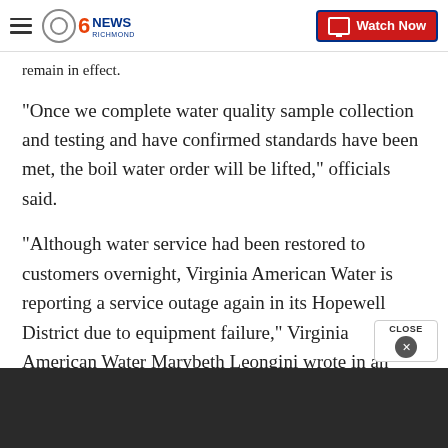CBS 6 News Richmond | Watch Now
remain in effect.
"Once we complete water quality sample collection and testing and have confirmed standards have been met, the boil water order will be lifted," officials said.
"Although water service had been restored to customers overnight, Virginia American Water is reporting a service outage again in its Hopewell District due to equipment failure," Virginia American Water Marybeth Leongini wrote in an email Tuesday. "Virginia American Water is working to resolve th